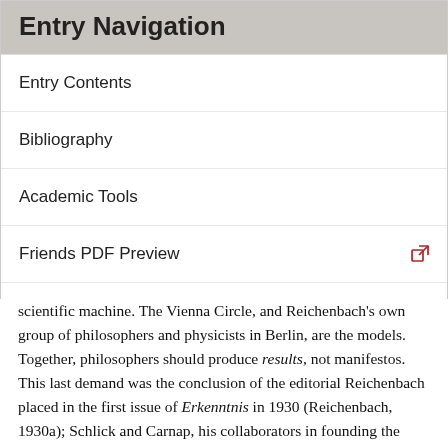Entry Navigation
Entry Contents
Bibliography
Academic Tools
Friends PDF Preview
Author and Citation Info
scientific machine. The Vienna Circle, and Reichenbach's own group of philosophers and physicists in Berlin, are the models. Together, philosophers should produce results, not manifestos. This last demand was the conclusion of the editorial Reichenbach placed in the first issue of Erkenntnis in 1930 (Reichenbach, 1930a); Schlick and Carnap, his collaborators in founding the journal, refused to sign the editorial, Schlick resigned entirely as an editor.
The book begins with a clear and compelling discussion of the interdependence of properties and laws, illustrated